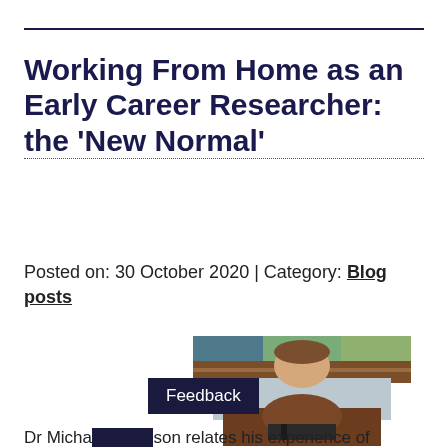Working From Home as an Early Career Researcher: the ‘New Normal’
Posted on: 30 October 2020 | Category: Blog posts
[Figure (photo): A young man with a beard smiling and holding a chocolate brown labrador dog wearing a harness, seated in front of a wooden bench with stained glass window in background.]
Feedback
Dr Micha… …son relates his experience of